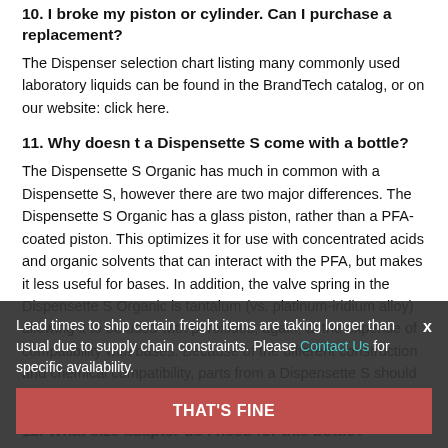10. I broke my piston or cylinder. Can I purchase a replacement?
The Dispenser selection chart listing many commonly used laboratory liquids can be found in the BrandTech catalog, or on our website: click here.
11. Why doesn t a Dispensette S come with a bottle?
The Dispensette S Organic has much in common with a Dispensette S, however there are two major differences. The Dispensette S Organic has a glass piston, rather than a PFA-coated piston. This optimizes it for use with concentrated acids and organic solvents that can interact with the PFA, but makes it less useful for bases. In addition, the valve spring in the Dispensette S Organic is tantalum (vs. platinum-iridium alloy) allowing it to be used with peroxides, again, at the expense of compatibility with bases. Because of the different construction and chemical compatibility, parts from a Dispensette S should not be used with a Dispensette S Organic, and vice versa.
12. What size adapter do I need for this bottle?
The recirculation valve allows you to prime the Dispensette S without wasting any of your chemical. Before the first use, or after storing a period of time, the tubing in the dispenser may contain air bubbles. With a recirculation valve you can return the chemical during priming. Without a recirculation valve, the first few dispenses would be discarded.
Lead times to ship certain freight items are taking longer than usual due to supply chain constraints. Please Contact Us for specific availability.
THAT'S FINE